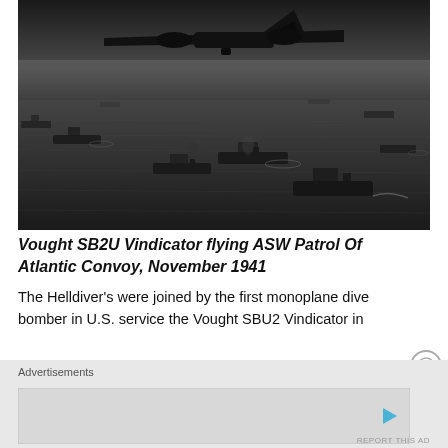[Figure (photo): Black and white aerial photograph showing a Vought SB2U Vindicator aircraft (partially visible at top of frame) flying over an Atlantic convoy of ships visible on the ocean below, November 1941.]
Vought SB2U Vindicator flying ASW Patrol Of Atlantic Convoy, November 1941
The Helldiver's were joined by the first monoplane dive bomber in U.S. service the Vought SBU2 Vindicator in
Advertisements